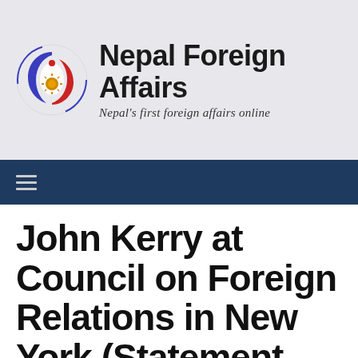[Figure (logo): Nepal Foreign Affairs website logo with circular emblem featuring blue, red and white colors with a sun/moon motif, alongside bold text 'Nepal Foreign Affairs' and italic tagline 'Nepal's first foreign affairs online']
≡
John Kerry at Council on Foreign Relations in New York (Statement from the US